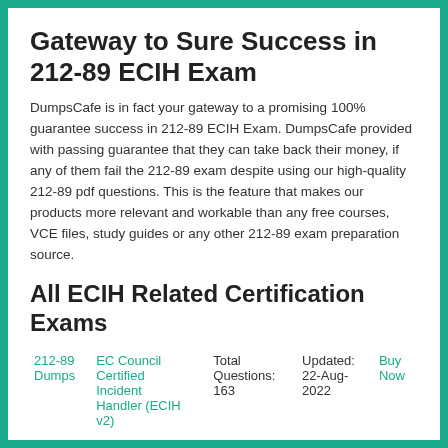Gateway to Sure Success in 212-89 ECIH Exam
DumpsCafe is in fact your gateway to a promising 100% guarantee success in 212-89 ECIH Exam. DumpsCafe provided with passing guarantee that they can take back their money, if any of them fail the 212-89 exam despite using our high-quality 212-89 pdf questions. This is the feature that makes our products more relevant and workable than any free courses, VCE files, study guides or any other 212-89 exam preparation source.
All ECIH Related Certification Exams
|  |  | Total Questions: | Updated: |  |
| --- | --- | --- | --- | --- |
| 212-89 Dumps | EC Council Certified Incident Handler (ECIH v2) | 163 | 22-Aug-2022 | Buy Now |